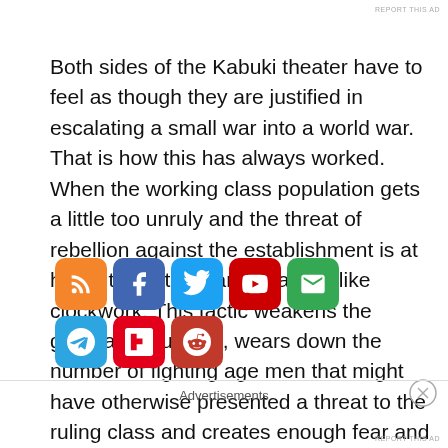REPORT THIS AD
Both sides of the Kabuki theater have to feel as though they are justified in escalating a small war into a world war. That is how this has always worked. When the working class population gets a little too unruly and the threat of rebellion against the establishment is at hand, the elites start a war. It's like clockwork. This tactic weakens the general population, wears down the number of fighting age men that might have otherwise presented a threat to the ruling class and creates enough fear and panic to convince the public to trade away more of their freedoms.
[Figure (infographic): Social media sharing icons: RSS (orange), Facebook (blue), Twitter (light blue), YouTube (red), Email/Gmail (green), Telegram (blue), Flipboard (pink/red), Reddit (red-orange)]
Advertisements
REPORT THIS AD